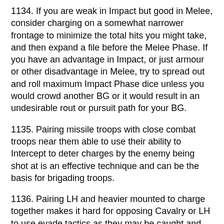1134. If you are weak in Impact but good in Melee, consider charging on a somewhat narrower frontage to minimize the total hits you might take, and then expand a file before the Melee Phase. If you have an advantage in Impact, or just armour or other disadvantage in Melee, try to spread out and roll maximum Impact Phase dice unless you would crowd another BG or it would result in an undesirable rout or pursuit path for your BG.
1135. Pairing missile troops with close combat troops near them able to use their ability to Intercept to deter charges by the enemy being shot at is an effective technique and can be the basis for brigading troops.
1136. Pairing LH and heavier mounted to charge together makes it hard for opposing Cavalry or LH to use evade tactics as they may be caught and entangled by LH and then caught by the heavier horse whether the LH hang on or rout.